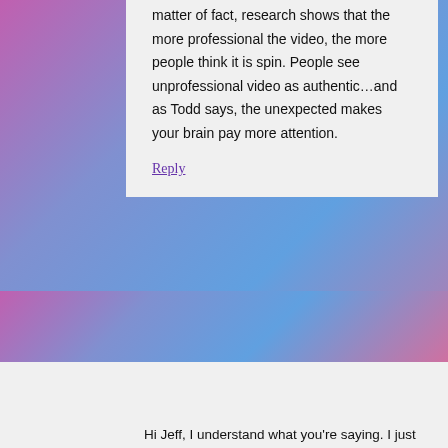matter of fact, research shows that the more professional the video, the more people think it is spin. People see unprofessional video as authentic…and as Todd says, the unexpected makes your brain pay more attention.
Reply
KShearer says
May 27, 2012 at 9:15 am
Hi Jeff, I understand what you're saying. I just think it's possible he totally